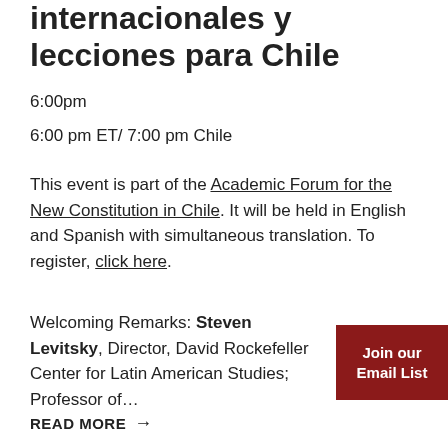internacionales y lecciones para Chile
6:00pm
6:00 pm ET/ 7:00 pm Chile
This event is part of the Academic Forum for the New Constitution in Chile. It will be held in English and Spanish with simultaneous translation. To register, click here.
Welcoming Remarks: Steven Levitsky, Director, David Rockefeller Center for Latin American Studies; Professor of...
Join our Email List
READ MORE →